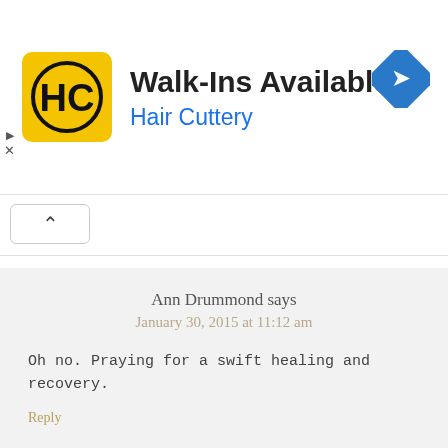[Figure (screenshot): Advertisement banner for Hair Cuttery showing logo, 'Walk-Ins Available' text, and a blue direction arrow icon]
Ann Drummond says
January 30, 2015 at 11:12 am
Oh no. Praying for a swift healing and recovery.
Reply